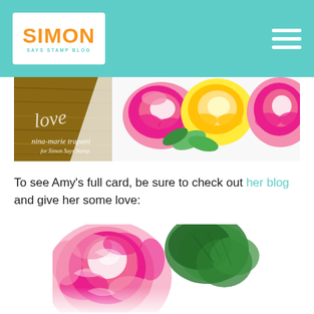Simon Says Stamp Blog
[Figure (photo): Banner photo showing stamped floral card with pink and yellow roses, green leaves, and handwritten script text 'nina-marie trapani for Simon Says Stamp' on a wood-textured background]
To see Amy's full card, be sure to check out her blog and give her some love:
[Figure (photo): Close-up photo of a stamped card featuring large pink peony flowers and dark green leaf clusters on a white background]